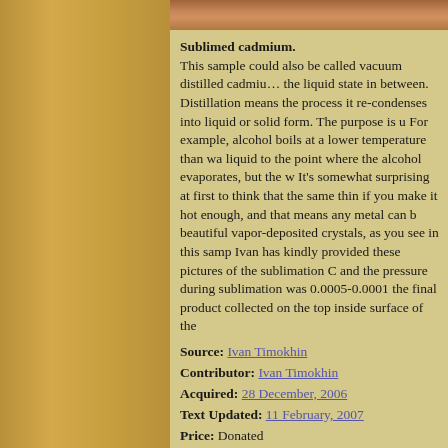Sublimed cadmium.
This sample could also be called vacuum distilled cadmium, though sublimation means going directly from solid to gas without the liquid state in between. Distillation means the process of heating something until it evaporates and then letting it re-condenses into liquid or solid form. The purpose is usually to purify the substance. For example, alcohol boils at a lower temperature than water, so you can concentrate it by heating the liquid to the point where the alcohol evaporates, but the water does not, and then condensing the vapors. It's somewhat surprising at first to think that the same thing works with metals, but metals evaporate if you make it hot enough, and that means any metal can be purified by distillation, and will form beautiful vapor-deposited crystals, as you see in this sample. Ivan has kindly provided these pictures of the sublimation apparatus. The temperature was 450 C and the pressure during sublimation was 0.0005-0.0001 mbar. The cadmium was collected from the final product collected on the top inside surface of the glass tube.
Source: Ivan Timokhin
Contributor: Ivan Timokhin
Acquired: 28 December, 2006
Text Updated: 11 February, 2007
Price: Donated
Size: 3"
Purity: >99.99%